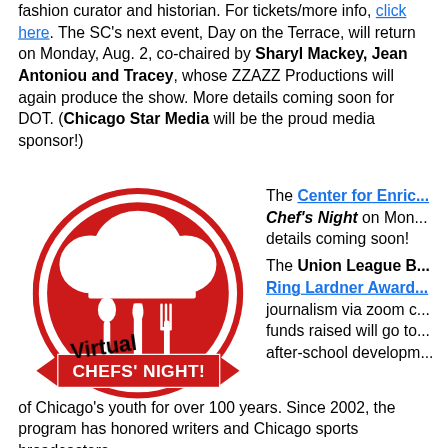fashion curator and historian. For tickets/more info, click here. The SC's next event, Day on the Terrace, will return on Monday, Aug. 2, co-chaired by Sharyl Mackey, Jean Antoniou and Tracey, whose ZZAZZ Productions will again produce the show. More details coming soon for DOT. (Chicago Star Media will be the proud media sponsor!)
[Figure (logo): Virtual Chefs' Night logo — red circular badge with chef hat and cutlery (spoon, knife, fork), red banner ribbon at bottom reading CHEFS' NIGHT! in white text, handwritten 'Virtual' text in black above the banner]
The Center for Enric... Chef's Night on Mon... details coming soon! The Union League B... Ring Lardner Award... journalism via zoom c... funds raised will go to... after-school developm... of Chicago's youth for over 100 years. Since 2002, the program has honored writers and Chicago sports broadcasters